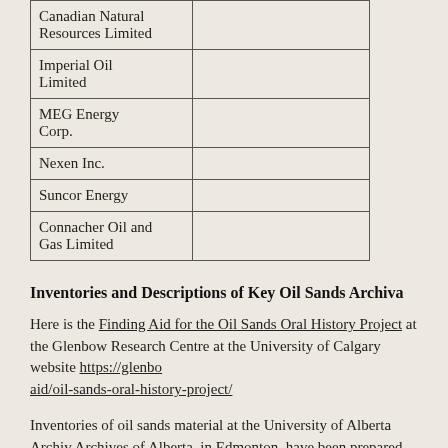| Company |  |
| --- | --- |
| Canadian Natural Resources Limited |  |
| Imperial Oil Limited |  |
| MEG Energy Corp. |  |
| Nexen Inc. |  |
| Suncor Energy |  |
| Connacher Oil and Gas Limited |  |
Inventories and Descriptions of Key Oil Sands Archival Collections
Here is the Finding Aid for the Oil Sands Oral History Project at the Glenbow Research Centre at the University of Calgary website https://glenbow.ucalgary.ca/finding-aid/oil-sands-oral-history-project/
Inventories of oil sands material at the University of Alberta Archives, and at the Provincial Archives of Alberta, in Edmonton, have been prepared as part of this project, and are available here.
Completed Interviews in Oil Sands Oral History Project